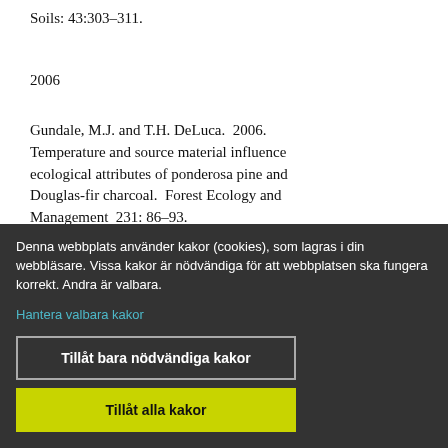Soils: 43:303–311.
2006
Gundale, M.J. and T.H. DeLuca.  2006. Temperature and source material influence ecological attributes of ponderosa pine and Douglas-fir charcoal.  Forest Ecology and Management  231: 86–93.
[partial reference text cut off]
Denna webbplats använder kakor (cookies), som lagras i din webbläsare. Vissa kakor är nödvändiga för att webbplatsen ska fungera korrekt. Andra är valbara.
Hantera valbara kakor
Tillåt bara nödvändiga kakor
Tillåt alla kakor